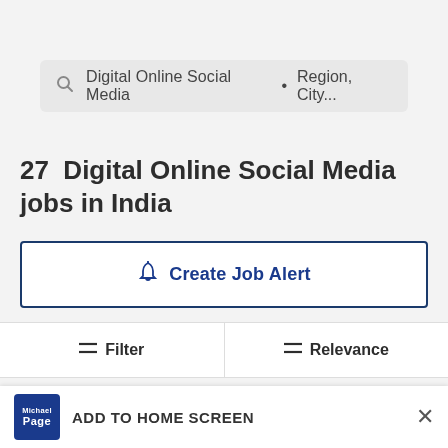Digital Online Social Media • Region, City...
27  Digital Online Social Media jobs in India
Create Job Alert
Filter
Relevance
ADD TO HOME SCREEN